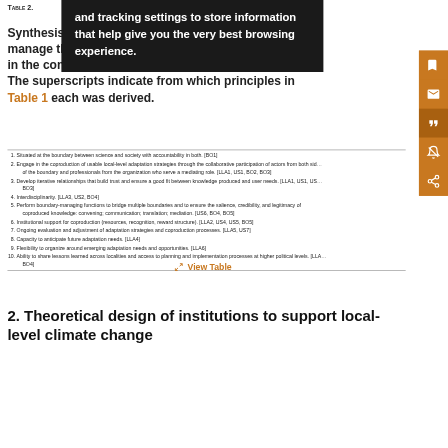TABLE 2.
Synthesis of design criteria for institutions that manage the boundary between science and society in the context of local climate change adaptation. The superscripts indicate from which principles in Table 1 each was derived.
| 1. Situated at the boundary between science and society with accountability in both. [BO1] |
| 2. Engage in the coproduction of usable local-level adaptation strategies through the collaborative participation of actors from both sides of the boundary and professionals from the organization who serve a mediating role. [LLA1, US1, BO2, BO3] |
| 3. Develop iterative relationships that build trust and ensure a good fit between knowledge produced and user needs. [LLA1, US1, US2, BO3] |
| 4. Interdisciplinarity. [LLA3, US2, BO4] |
| 5. Perform boundary-managing functions to bridge multiple boundaries and to ensure the salience, credibility, and legitimacy of coproduced knowledge: convening; communication; translation; mediation. [US6, BO4, BO5] |
| 6. Institutional support for coproduction (resources, recognition, reward structure). [LLA2, US4, US5, BO5] |
| 7. Ongoing evaluation and adjustment of adaptation strategies and coproduction processes. [LLA5, US7] |
| 8. Capacity to anticipate future adaptation needs. [LLA4] |
| 9. Flexibility to organize around emerging adaptation needs and opportunities. [LLA6] |
| 10. Ability to share lessons learned across localities and access to planning and implementation processes at higher political levels. [LLA7, BO4] |
View Table
2. Theoretical design of institutions to support local-level climate change